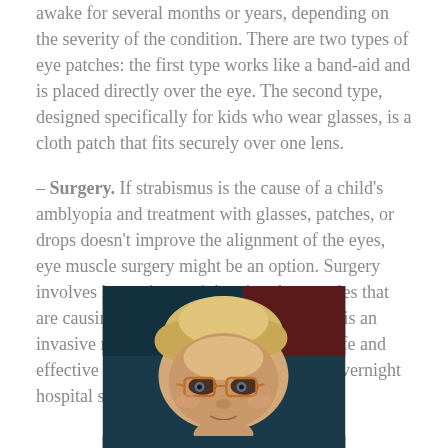awake for several months or years, depending on the severity of the condition. There are two types of eye patches: the first type works like a band-aid and is placed directly over the eye. The second type, designed specifically for kids who wear glasses, is a cloth patch that fits securely over one lens.
– Surgery. If strabismus is the cause of a child's amblyopia and treatment with glasses, patches, or drops doesn't improve the alignment of the eyes, eye muscle surgery might be an option. Surgery involves loosening or tightening the muscles that are causing the eye to wander. Although it is an invasive measure, surgery is considered safe and effective and usually does not require an overnight hospital stay.
[Figure (photo): A young blonde child wearing glasses, photographed from above/front with a dark teal and red background.]